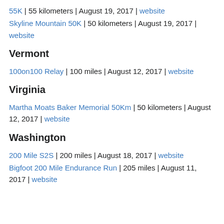55K | 55 kilometers | August 19, 2017 | website
Skyline Mountain 50K | 50 kilometers | August 19, 2017 | website
Vermont
100on100 Relay | 100 miles | August 12, 2017 | website
Virginia
Martha Moats Baker Memorial 50Km | 50 kilometers | August 12, 2017 | website
Washington
200 Mile S2S | 200 miles | August 18, 2017 | website
Bigfoot 200 Mile Endurance Run | 205 miles | August 11, 2017 | website